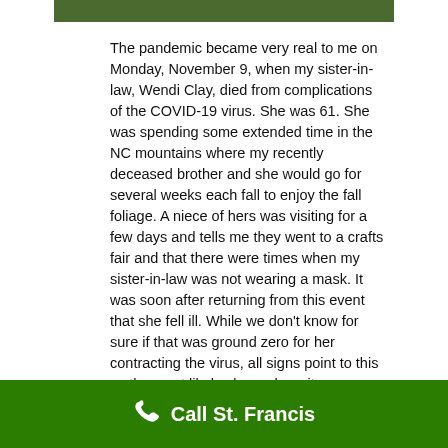[Figure (photo): Partial image at top of page showing green outdoor/nature scene]
The pandemic became very real to me on Monday, November 9, when my sister-in-law, Wendi Clay, died from complications of the COVID-19 virus. She was 61. She was spending some extended time in the NC mountains where my recently deceased brother and she would go for several weeks each fall to enjoy the fall foliage. A niece of hers was visiting for a few days and tells me they went to a crafts fair and that there were times when my sister-in-law was not wearing a mask. It was soon after returning from this event that she fell ill. While we don't know for sure if that was ground zero for her contracting the virus, all signs point to this as the most likely place where it
Call St. Francis